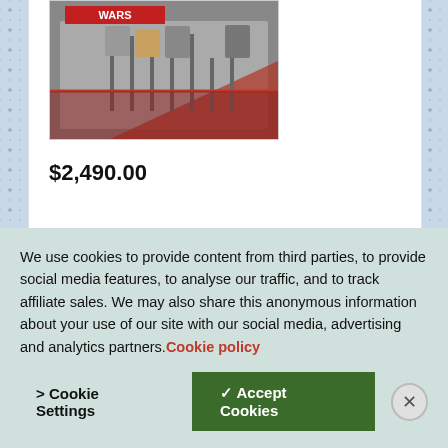[Figure (photo): Star Wars action figure set in original packaging, showing multiple characters in display case]
$2,490.00
Buy It Now for only: $2,490.00
Buy It Now
VINTAGE STAR WARS EARLY BIRD
We use cookies to provide content from third parties, to provide social media features, to analyse our traffic, and to track affiliate sales. We may also share this anonymous information about your use of our site with our social media, advertising and analytics partners. Cookie policy
Cookie Settings
Accept Cookies